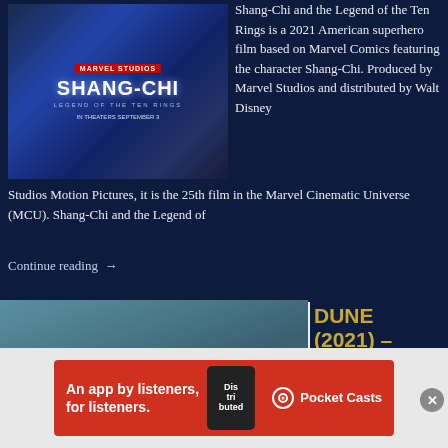[Figure (photo): Shang-Chi and the Legend of the Ten Rings movie poster with Marvel Studios logo]
Shang-Chi and the Legend of the Ten Rings is a 2021 American superhero film based on Marvel Comics featuring the character Shang-Chi. Produced by Marvel Studios and distributed by Walt Disney Studios Motion Pictures, it is the 25th film in the Marvel Cinematic Universe (MCU). Shang-Chi and the Legend of
Continue reading →
[Figure (photo): Dune (2021) movie poster showing ensemble cast with Timothée Chalamet prominently featured]
DUNE (2021) – DENIS VILLENEUVE'S SCI-FI
[Figure (photo): Advertisement banner: An app by listeners, for listeners. Pocket Casts]